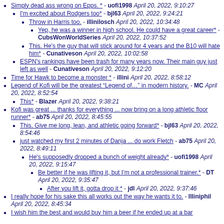Simply dead ass wrong on Epps. * - uofi1998 April 20, 2022, 9:10:27
I'm excited about Rodgers too* - bjl63 April 20, 2022, 9:24:21
Throw in Harris too. - illinilosch April 20, 2022, 10:34:48
Yep, he was a winner in high school. He could have a great career* - CubsWonWorldSeries April 20, 2022, 10:37:52
This. He's the guy that will stick around for 4 years and the B10 will hate him* - Cunativeson April 20, 2022, 10:02:58
ESPN's rankings have been trash for many years now. Their main guy just left as well - Cunativeson April 20, 2022, 9:12:20
Time for Hawk to become a monster * - illini April 20, 2022, 8:58:12
Legend of Kofi will be the greatest "Legend of..." in modern history. - MC April 20, 2022, 8:52:54
This* - Blazer April 20, 2022, 9:38:21
Kofi was great ... thanks for everything ... now bring on a long athletic floor runner* - ab75 April 20, 2022, 8:45:55
This. Give me long, lean, and athletic going forward* - bjl63 April 20, 2022, 8:54:46
just watched my first 2 minutes of Danja ... do work Fletch - ab75 April 20, 2022, 8:49:11
He's supposedly dropped a bunch of weight already* - uofi1998 April 20, 2022, 9:15:47
Be better if he was lifting it, but I'm not a professional trainer.* - DT April 20, 2022, 9:35:47
After you lift it, gotta drop it * - jdl April 20, 2022, 9:37:46
I really hope for his sake this all works out the way he wants it to. - Illiniphil April 20, 2022, 8:45:34
I wish him the best and would buy him a beer if he ended up at a bar